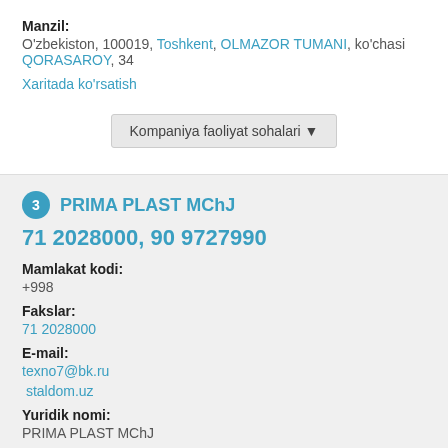Manzil:
O'zbekiston, 100019, Toshkent, OLMAZOR TUMANI, ko'chasi QORASAROY, 34
Xaritada ko'rsatish
Kompaniya faoliyat sohalari ▼
3 PRIMA PLAST MChJ
71 2028000, 90 9727990
Mamlakat kodi:
+998
Fakslar:
71 2028000
E-mail:
texno7@bk.ru
staldom.uz
Yuridik nomi:
PRIMA PLAST MChJ